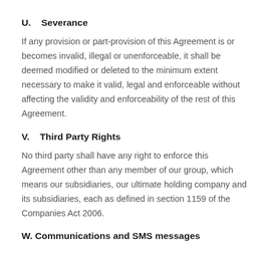U.    Severance
If any provision or part-provision of this Agreement is or becomes invalid, illegal or unenforceable, it shall be deemed modified or deleted to the minimum extent necessary to make it valid, legal and enforceable without affecting the validity and enforceability of the rest of this Agreement.
V.    Third Party Rights
No third party shall have any right to enforce this Agreement other than any member of our group, which means our subsidiaries, our ultimate holding company and its subsidiaries, each as defined in section 1159 of the Companies Act 2006.
W. Communications and SMS messages